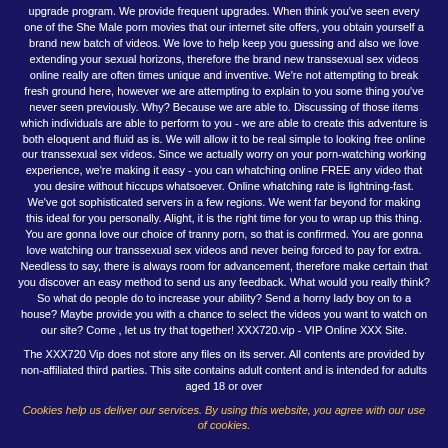upgrade program. We provide frequent upgrades. When think you've seen every one of the She Male porn movies that our internet site offers, you obtain yourself a brand new batch of videos. We love to help keep you guessing and also we love extending your sexual horizons, therefore the brand new transsexual sex videos online really are often times unique and inventive. We're not attempting to break fresh ground here, however we are attempting to explain to you some thing you've never seen previously. Why? Because we are able to. Discussing of those items which individuals are able to perform to you - we are able to create this adventure is both eloquent and fluid as is. We will allow it to be real simple to looking free online our transsexual sex videos. Since we actually worry on your porn-watching working experience, we're making it easy - you can whatching online FREE any video that you desire without hiccups whatsoever. Online whatching rate is lightning-fast. We've got sophisticated servers in a few regions. We went far beyond for making this ideal for you personally. Alight, it is the right time for you to wrap up this thing. You are gonna love our choice of tranny porn, so that is confirmed. You are gonna love watching our transsexual sex videos and never being forced to pay for extra. Needless to say, there is always room for advancement, therefore make certain that you discover an easy method to send us any feedback. What would you really think? So what do people do to increase your ability? Send a horny lady boy on to a house? Maybe provide you with a chance to select the videos you want to watch on our site? Come , let us try that together! XXX720.vip - VIP Online XXX Site.
The XXX720 Vip does not store any files on its server. All contents are provided by non-affiliated third parties. This site contains adult content and is intended for adults aged 18 or over
Cookies help us deliver our services. By using this website, you agree with our use of cookies.